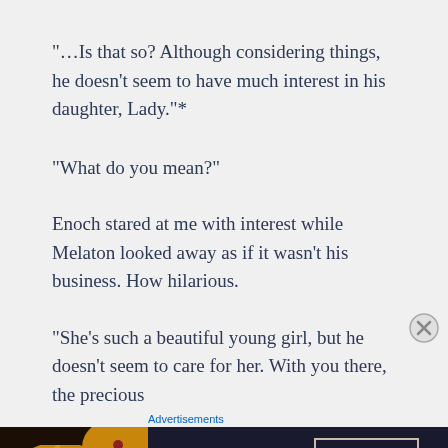“…Is that so? Although considering things, he doesn’t seem to have much interest in his daughter, Lady.”*
“What do you mean?”
Enoch stared at me with interest while Melaton looked away as if it wasn’t his business. How hilarious.
“She’s such a beautiful young girl, but he doesn’t seem to care for her. With you there, the precious
Advertisements
[Figure (screenshot): Seamless food delivery advertisement banner showing pizza and ORDER NOW button]